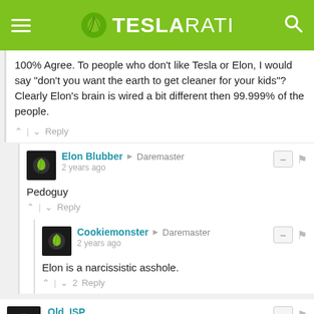TESLARATI
100% Agree. To people who don't like Tesla or Elon, I would say "don't you want the earth to get cleaner for your kids"? Clearly Elon's brain is wired a bit different then 99.999% of the people.
Elon Blubber → Daremaster
2 years ago
Pedoguy
Cookiemonster → Daremaster
2 years ago
Elon is a narcissistic asshole.
Old_ISP
2 years ago
I have two pots of Tesla shares. One is long and